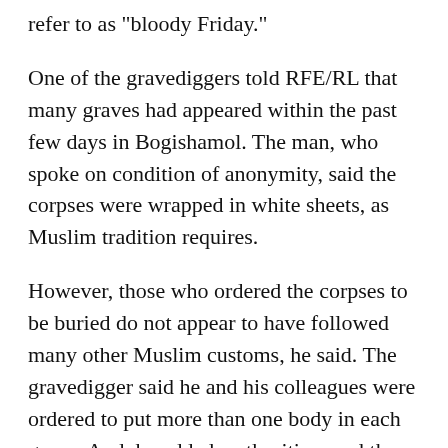refer to as "bloody Friday."
One of the gravediggers told RFE/RL that many graves had appeared within the past few days in Bogishamol. The man, who spoke on condition of anonymity, said the corpses were wrapped in white sheets, as Muslim tradition requires.
However, those who ordered the corpses to be buried do not appear to have followed many other Muslim customs, he said. The gravedigger said he and his colleagues were ordered to put more than one body in each grave. And, he added, authorities used the service of non-Muslim gravediggers from a nearby Russian Orthodox cemetery when the first bodies were delivered.
"First, some 48 bodies were brought here," he said